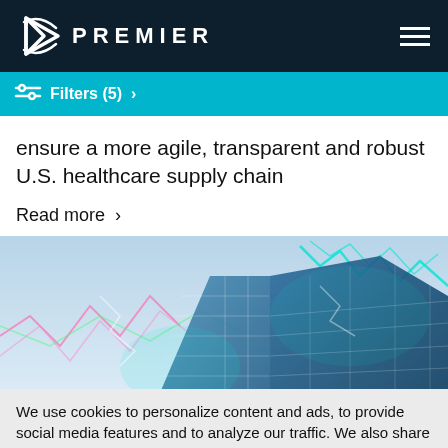PREMIER
Filters (5)  >
ensure a more agile, transparent and robust U.S. healthcare supply chain
Read more  >
[Figure (photo): Glass skyscraper buildings photographed from below against a sky with colorful digital stock chart overlays in cyan, pink, and green]
We use cookies to personalize content and ads, to provide social media features and to analyze our traffic. We also share